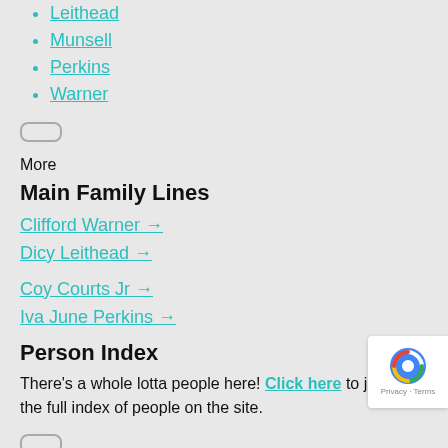Leithead
Munsell
Perkins
Warner
More
Main Family Lines
Clifford Warner →
Dicy Leithead →
Coy Courts Jr →
Iva June Perkins →
Person Index
There's a whole lotta people here! Click here to jump to the full index of people on the site.
Home